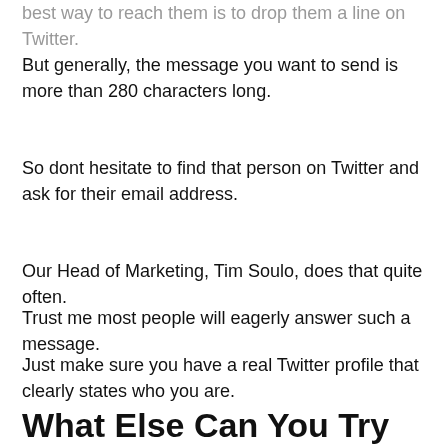best way to reach them is to drop them a line on Twitter.
But generally, the message you want to send is more than 280 characters long.
So dont hesitate to find that person on Twitter and ask for their email address.
Our Head of Marketing, Tim Soulo, does that quite often.
Trust me most people will eagerly answer such a message.
Just make sure you have a real Twitter profile that clearly states who you are.
What Else Can You Try